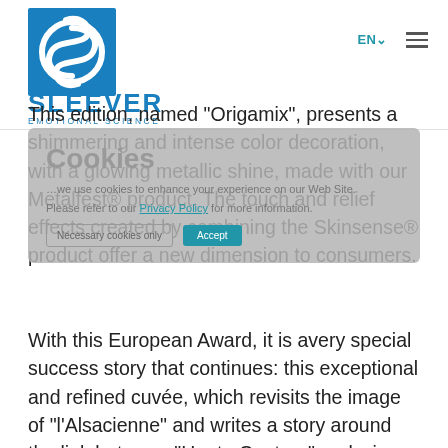[Figure (logo): Sleever Emotional Science logo — circular S-shape icon above SLEEVER EMOTIONAL SCIENCE wordmark in blue]
This edition, named "Origamix", presents a shimmering and intense color decoration, with a glowing metallic shine, made with our Metalfest® product. The touch and relief effects created by combining the Skinsense® product offer a new dimension to consumers.
With this European Award, it is avery special success story that continues: this exceptional and refined cuvée, which revisits the image of "l'Alsacienne" and writes a story around the link between "Haute Couture" and wine, sees its commercial success grow